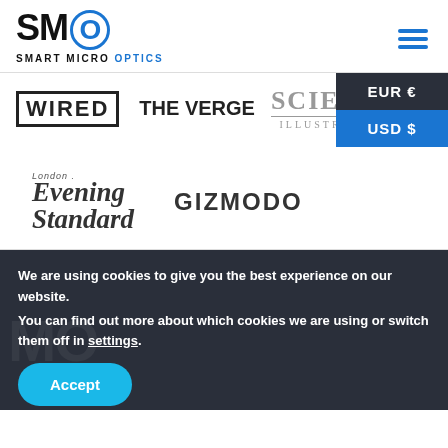[Figure (logo): SMO Smart Micro Optics logo with blue O and hamburger menu icon]
[Figure (logo): Currency dropdown overlay showing EUR € and USD $ options]
[Figure (logo): Media logos row 1: WIRED, THE VERGE, SCIENCE ILLUSTRATED]
[Figure (logo): Media logos row 2: London Evening Standard, GIZMODO]
We are using cookies to give you the best experience on our website.
You can find out more about which cookies we are using or switch them off in settings.
Accept